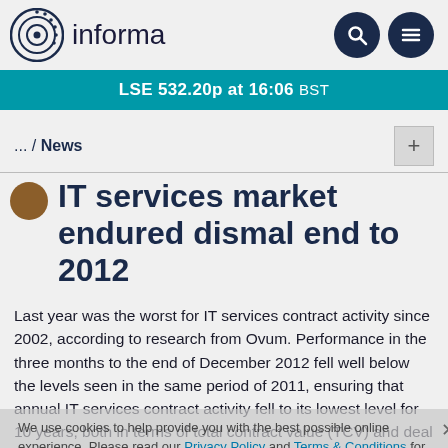informa | LSE 532.20p at 16:06 BST
... / News
IT services market endured dismal end to 2012
We use cookies to help provide you with the best possible online experience. Please read our Privacy Policy and Terms & Conditions for information about which cookies we use and what information we collect on our site. By continuing to use this site, you agree that we may store and access cookies on your device. Cookies Policy.
Last year was the worst for IT services contract activity since 2002, according to research from Ovum. Performance in the three months to the end of December 2012 fell well below the levels seen in the same period of 2011, ensuring that annual IT services contract activity fell to its lowest level for 10 years, both in terms of total contract value (TCV) and deal volume.